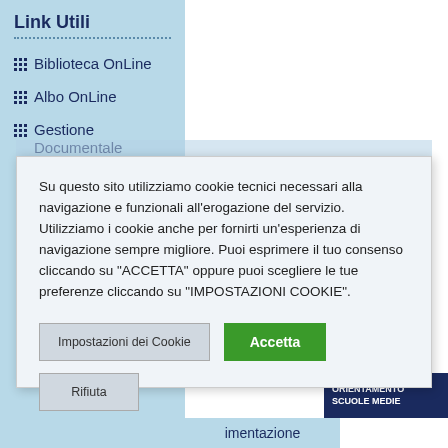Link Utili
Biblioteca OnLine
Albo OnLine
Gestione Documentale
Su questo sito utilizziamo cookie tecnici necessari alla navigazione e funzionali all'erogazione del servizio. Utilizziamo i cookie anche per fornirti un'esperienza di navigazione sempre migliore. Puoi esprimere il tuo consenso cliccando su "ACCETTA" oppure puoi scegliere le tue preferenze cliccando su "IMPOSTAZIONI COOKIE".
Impostazioni dei Cookie
Accetta
Rifiuta
ORIENTAMENTO SCUOLE MEDIE
imentazione